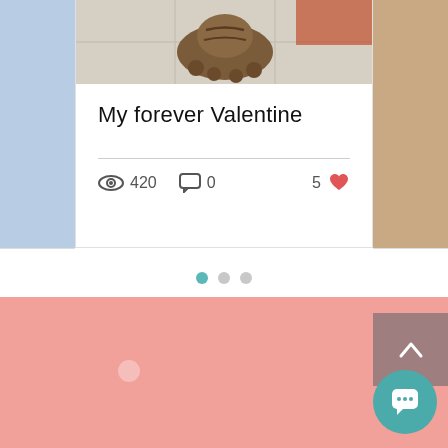[Figure (screenshot): Blog or social post card showing a photo of a cat/kitten with the title 'My forever Valentine', views count 420, comments 0, and likes 5 with a heart icon]
My forever Valentine
420 views · 0 comments · 5 likes
[Figure (infographic): Carousel pagination dots: one teal filled dot and two grey dots]
[Figure (screenshot): Pink/salmon colored section below carousel, with a light pink circle, a back-to-top arrow button in mauve/brown, and a teal chat bubble button]